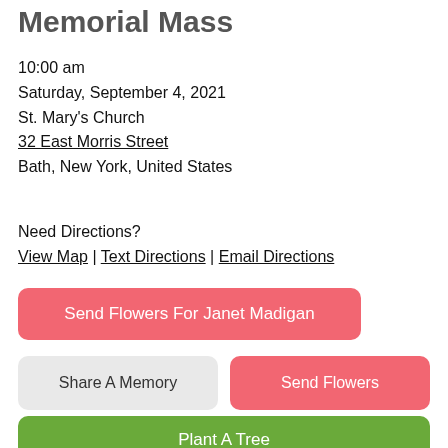Memorial Mass
10:00 am
Saturday, September 4, 2021
St. Mary's Church
32 East Morris Street
Bath, New York, United States
Need Directions?
View Map | Text Directions | Email Directions
Send Flowers For Janet Madigan
Share A Memory
Send Flowers
Plant A Tree